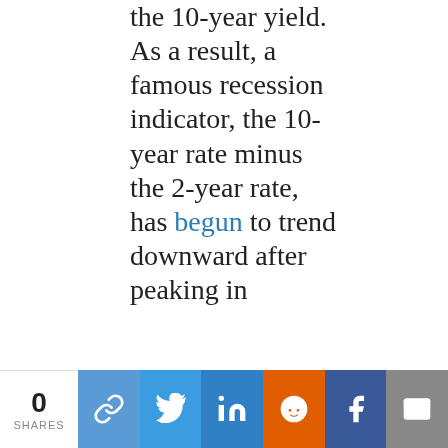the 10-year yield. As a result, a famous recession indicator, the 10-year rate minus the 2-year rate, has begun to trend downward after peaking in
0 SHARES | share buttons: copy link, Twitter, LinkedIn, Reddit, Facebook, Email